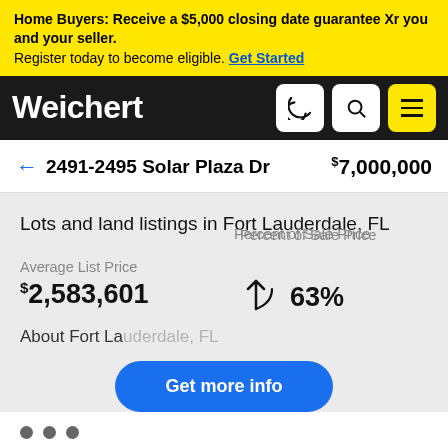Home Buyers: Receive a $5,000 closing date guarantee Xr you and your seller. Register today to become eligible. Get Started
[Figure (logo): Weichert logo in white on black navigation bar with phone, search, and menu icons]
← 2491-2495 Solar Plaza Dr $7,000,000
Lots and land listings in Fort Lauderdale, FL
Average List Price
$2,583,601
Percent of Sale Price
63%
About Fort Lauderdale, FL
Get more info